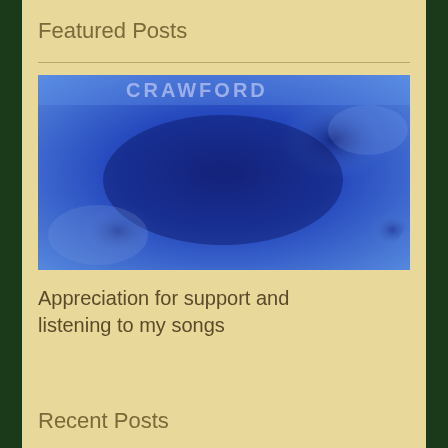Featured Posts
[Figure (photo): Blurred blue abstract image with text 'CRAWFORD' partially visible at the top in light blue/white letters on a blue textured background]
Appreciation for support and listening to my songs
Recent Posts